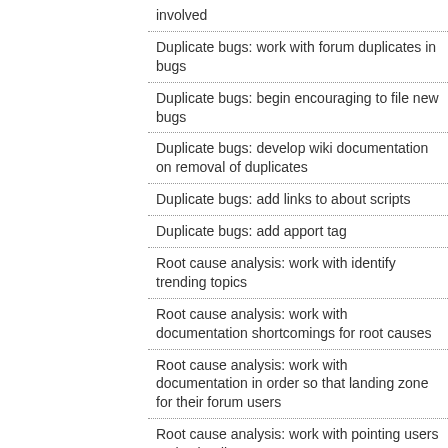involved
Duplicate bugs: work with forum duplicates in bugs
Duplicate bugs: begin encouraging to file new bugs
Duplicate bugs: develop wiki documentation on removal of duplicates
Duplicate bugs: add links to about scripts
Duplicate bugs: add apport tag
Root cause analysis: work with identify trending topics
Root cause analysis: work with documentation shortcomings for root causes
Root cause analysis: work with documentation in order so that landing zone for their forum users
Root cause analysis: work with pointing users to the 'landing zone'